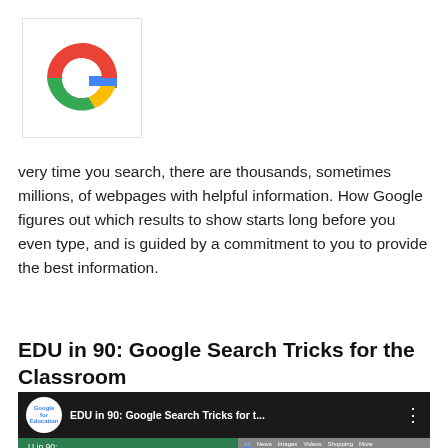[Figure (logo): Google 'G' logo in red, yellow, green, and blue colors inside a white bordered square]
very time you search, there are thousands, sometimes millions, of webpages with helpful information. How Google figures out which results to show starts long before you even type, and is guided by a commitment to you to provide the best information.
www.google.com/search/howsearchworks
EDU in 90: Google Search Tricks for the Classroom
[Figure (screenshot): YouTube video thumbnail for 'EDU in 90: Google Search Tricks for t...' showing a Google for Education logo, green background with 'U in 90: Google' text, and a Google search results page on the right side]